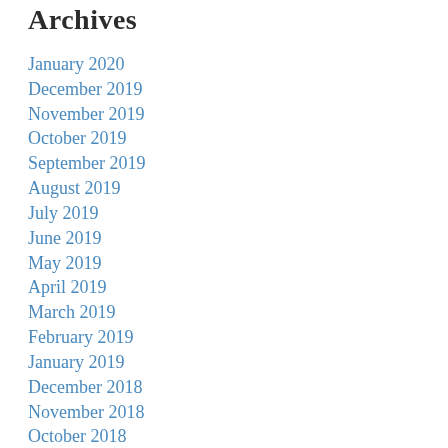Archives
January 2020
December 2019
November 2019
October 2019
September 2019
August 2019
July 2019
June 2019
May 2019
April 2019
March 2019
February 2019
January 2019
December 2018
November 2018
October 2018
September 2018
August 2018
July 2018
June 2018